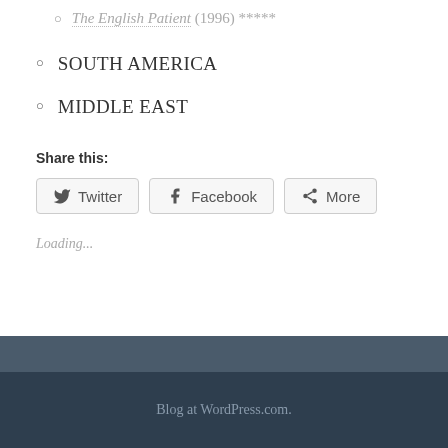The English Patient (1996) *****
SOUTH AMERICA
MIDDLE EAST
Share this:
Twitter  Facebook  More
Loading...
Blog at WordPress.com.